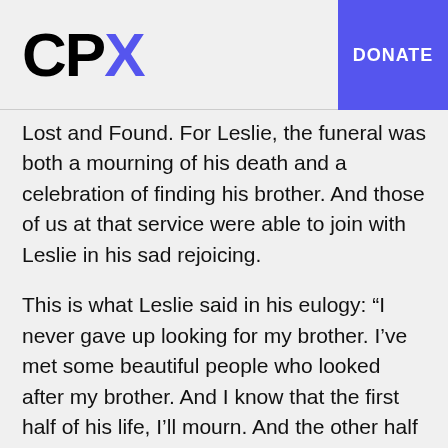CPX — DONATE
Lost and Found. For Leslie, the funeral was both a mourning of his death and a celebration of finding his brother. And those of us at that service were able to join with Leslie in his sad rejoicing.
This is what Leslie said in his eulogy: “I never gave up looking for my brother. I’ve met some beautiful people who looked after my brother. And I know that the first half of his life, I’ll mourn. And the other half of his life, they’ll mourn. And